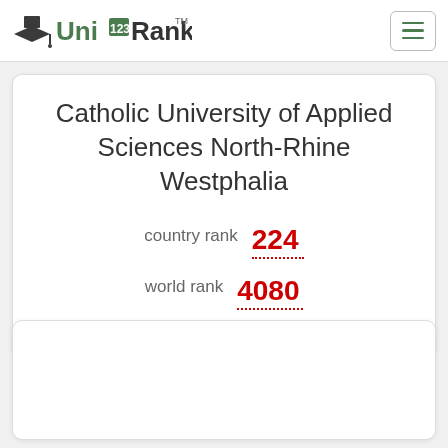UniRank
Catholic University of Applied Sciences North-Rhine Westphalia
country rank 224
world rank 4080